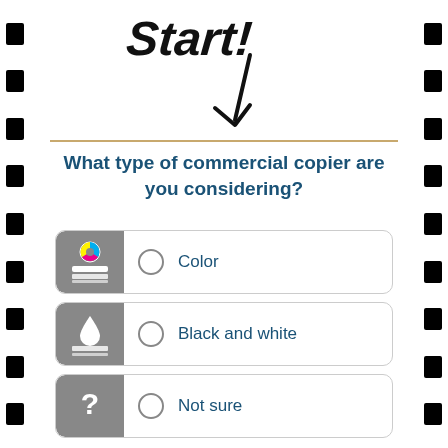[Figure (illustration): Handwritten annotation with arrows pointing down, partially visible at top of page]
What type of commercial copier are you considering?
Color
Black and white
Not sure